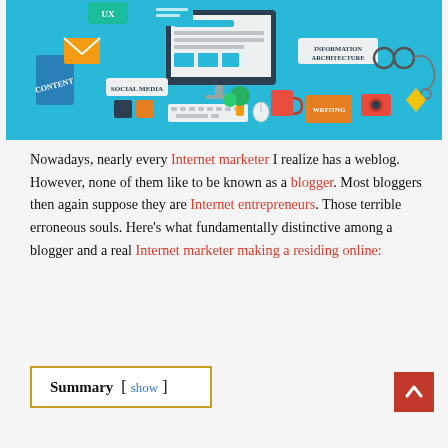[Figure (illustration): Colorful flat design illustration of digital marketing and content creation concepts on a blue background. Features a desktop computer monitor, icons for 'CONTENT', 'UX', 'SOCIAL MEDIA', 'INFORMATION ARCHITECTURE', 'WRITING', various objects including books, coffee mug, camera, glasses with stethoscope, keyboard, mobile devices, plants, email envelope, and other design elements.]
Nowadays, nearly every Internet marketer I realize has a weblog. However, none of them like to be known as a blogger. Most bloggers then again suppose they are Internet entrepreneurs. Those terrible erroneous souls. Here's what fundamentally distinctive among a blogger and a real Internet marketer making a residing online:
Summary  [ show ]